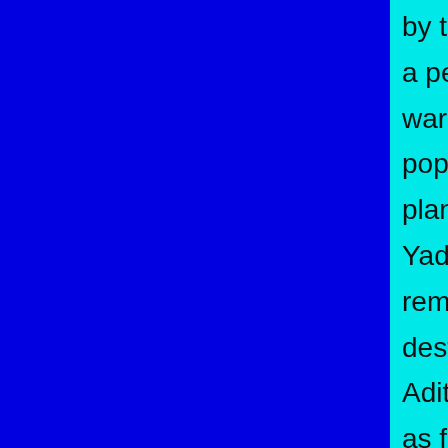by the gangs, stone pelting on the police b... a perfect riot? A riot involves some degree... warring groups. How is it that areas with s... population did not experience any untowar... planned attacks of Adityanath's gangs? Wh... Yadav remove the officers who jailed the BJP MP... destroying peace? Why did the officers' su... Adityanath for forgiveness? Why did the n... as facts? Hari Om has one regret — that he had assu... a reprieve of 7-8 hours in the curfew on Janu...